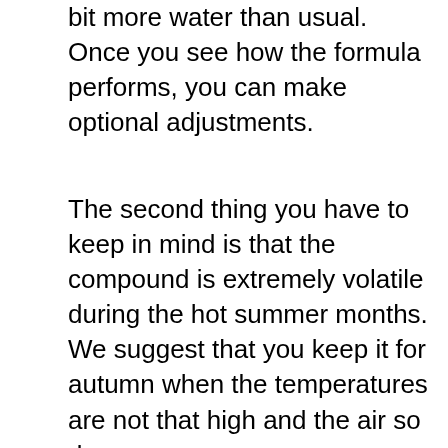bit more water than usual. Once you see how the formula performs, you can make optional adjustments.
The second thing you have to keep in mind is that the compound is extremely volatile during the hot summer months. We suggest that you keep it for autumn when the temperatures are not that high and the air so dry.
If you follow these clear guidelines, you will discover that the people from Southern Ag have actually managed to roll out one incredibly satisfying herbicide that will have no problem obliterating even the most stubborn weeds and roots you can imagine.